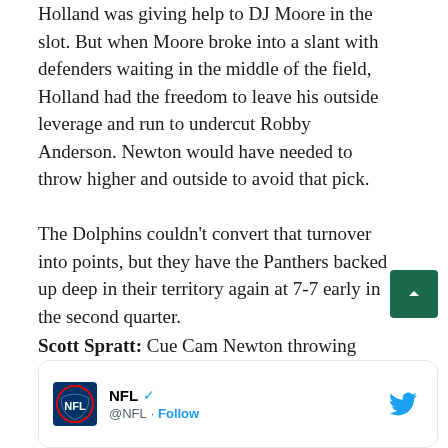Holland was giving help to DJ Moore in the slot. But when Moore broke into a slant with defenders waiting in the middle of the field, Holland had the freedom to leave his outside leverage and run to undercut Robby Anderson. Newton would have needed to throw higher and outside to avoid that pick.
The Dolphins couldn't convert that turnover into points, but they have the Panthers backed up deep in their territory again at 7-7 early in the second quarter.
Scott Spratt: Cue Cam Newton throwing the ball to cornerback Xavien Howard, who was running DJ Moore's route for him. And three plays later, Tagovailoa found Jaylen Waddle in the end zone.
[Figure (screenshot): Embedded tweet from NFL (@NFL) with NFL shield logo and Twitter bird icon, showing Follow button]